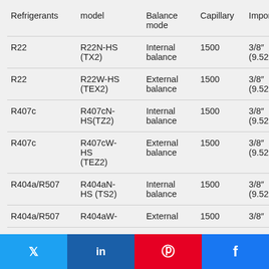| Refrigerants | model | Balance mode | Capillary | Import | Export |
| --- | --- | --- | --- | --- | --- |
| R22 | R22N-HS (TX2) | Internal balance | 1500 | 3/8" (9.52mm) | 1/2" (12.7mm) |
| R22 | R22W-HS (TEX2) | External balance | 1500 | 3/8" (9.52mm) | 1/2" (12.7mm) |
| R407c | R407cN-HS(TZ2) | Internal balance | 1500 | 3/8" (9.52mm) | 1/2" (12.7mm) |
| R407c | R407cW-HS (TEZ2) | External balance | 1500 | 3/8" (9.52mm) | 1/2" (12.7mm) |
| R404a/R507 | R404aN-HS (TS2) | Internal balance | 1500 | 3/8" (9.52mm) | 1/2" (12.7mm) |
| R404a/R507 | R404aW-... | External | 1500 | 3/8" | 1/2" |